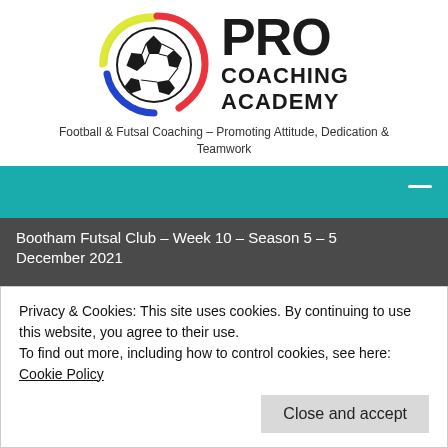[Figure (logo): Pro Coaching Academy logo with soccer ball and colorful swoosh arcs, with PRO COACHING ACADEMY text]
Football & Futsal Coaching – Promoting Attitude, Dedication & Teamwork
[Figure (other): Teal navigation bar with hamburger menu icon]
Bootham Futsal Club – Week 10 – Season 5 – 5 December 2021
Privacy & Cookies: This site uses cookies. By continuing to use this website, you agree to their use.
To find out more, including how to control cookies, see here: Cookie Policy
Close and accept
Bootham Futsal Club – Week 07 – Season 5 – 14